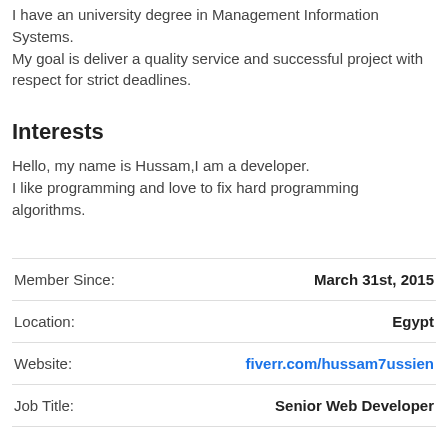I have an university degree in Management Information Systems.
My goal is deliver a quality service and successful project with respect for strict deadlines.
Interests
Hello, my name is Hussam,I am a developer.
I like programming and love to fix hard programming algorithms.
|  |  |
| --- | --- |
| Member Since: | March 31st, 2015 |
| Location: | Egypt |
| Website: | fiverr.com/hussam7ussien |
| Job Title: | Senior Web Developer |